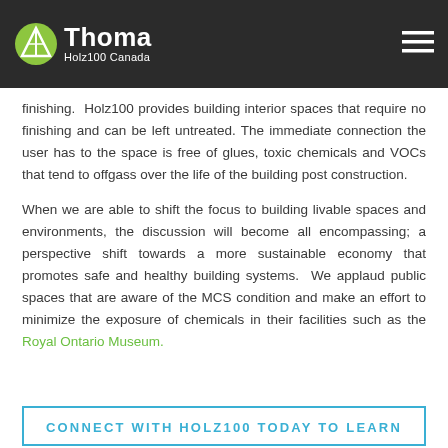Thoma Holz100 Canada
finishing.  Holz100 provides building interior spaces that require no finishing and can be left untreated. The immediate connection the user has to the space is free of glues, toxic chemicals and VOCs that tend to offgass over the life of the building post construction.
When we are able to shift the focus to building livable spaces and environments, the discussion will become all encompassing; a perspective shift towards a more sustainable economy that promotes safe and healthy building systems.  We applaud public spaces that are aware of the MCS condition and make an effort to minimize the exposure of chemicals in their facilities such as the Royal Ontario Museum.
CONNECT WITH HOLZ100 TODAY TO LEARN